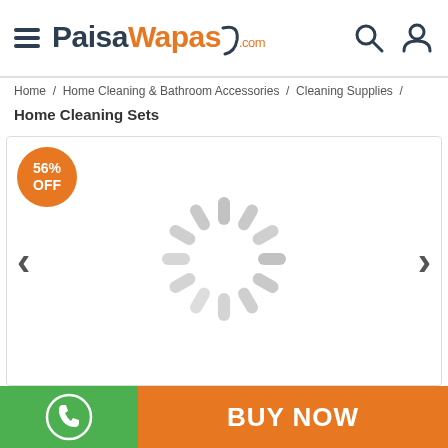PaisaWapas.com — navigation header with hamburger menu, logo, search and account icons
Home / Home Cleaning & Bathroom Accessories / Cleaning Supplies /
Home Cleaning Sets
[Figure (screenshot): Product image carousel area showing a loading spinner (circular animated indicator) with a 56% OFF orange badge in the top-left corner, left and right navigation arrows on sides]
BUY NOW